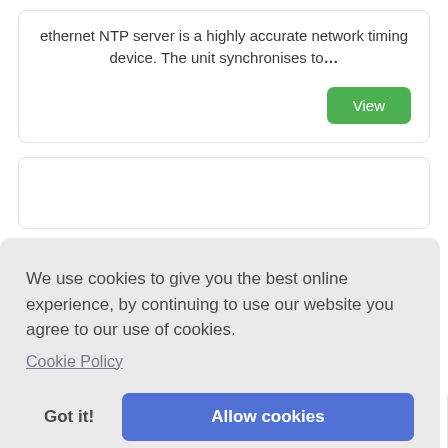ethernet NTP server is a highly accurate network timing device. The unit synchronises to…
View
[Figure (screenshot): Cookie consent overlay with text: We use cookies to give you the best online experience, by continuing to use our website you agree to our use of cookies. Cookie Policy. Buttons: Got it! and Allow cookies.]
dual time source NTP Server for large networks. True